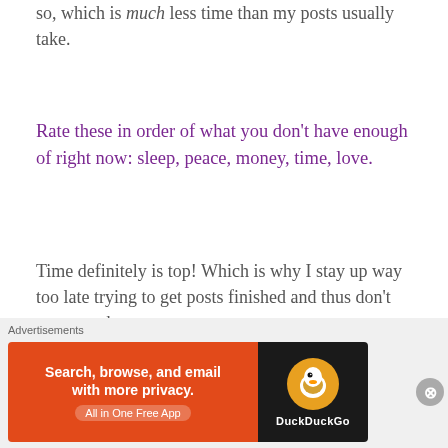so, which is much less time than my posts usually take.
Rate these in order of what you don't have enough of right now: sleep, peace, money, time, love.
Time definitely is top! Which is why I stay up way too late trying to get posts finished and thus don't get enough
[Figure (other): DuckDuckGo advertisement banner: orange left panel reading 'Search, browse, and email with more privacy. All in One Free App', dark right panel with DuckDuckGo duck logo and brand name.]